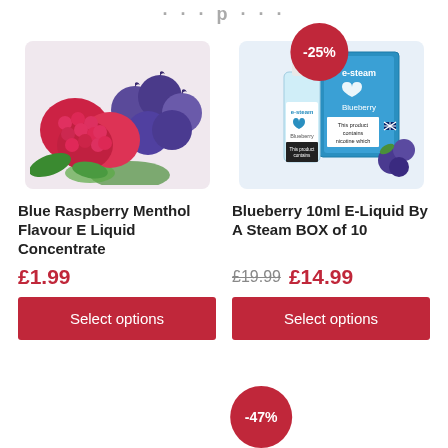· · · p · · ·
[Figure (photo): Discount badge showing -25% in red circle]
[Figure (photo): Photo of raspberries and blueberries with green leaves]
[Figure (photo): Photo of Blueberry 10ml E-Liquid bottle and box by A Steam, with blueberries]
Blue Raspberry Menthol Flavour E Liquid Concentrate
£1.99
Select options
Blueberry 10ml E-Liquid By A Steam BOX of 10
£19.99 £14.99
Select options
[Figure (photo): Discount badge showing -47% in red circle at bottom]